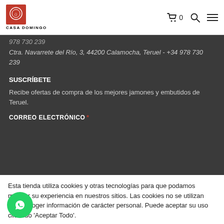CASA DOMINGO — navigation header with cart, search, menu icons
978 730 239
Ctra. Navarrete del Río, 3, 44200 Calamocha, Teruel - +34 978 730 239
SUSCRÍBETE
Recibe ofertas de compra de los mejores jamones y embutidos de Teruel.
CORREO ELECTRÓNICO *
Esta tienda utiliza cookies y otras tecnologías para que podamos mejorar su experiencia en nuestros sitios. Las cookies no se utilizan para recoger información de carácter personal. Puede aceptar su uso clicando 'Aceptar Todo'.
de Cookies | Aceptar Todo